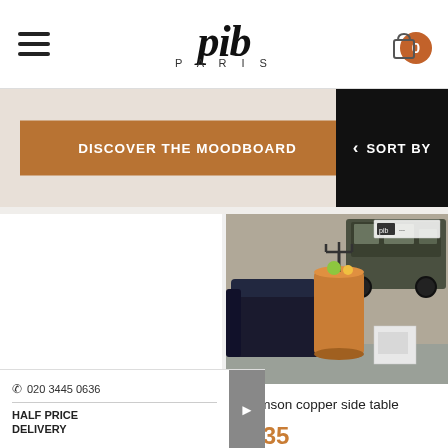pib PARIS
DISCOVER THE MOODBOARD
SORT BY
[Figure (photo): Red Minoterie small cabinet product photo on dark background]
Minoterie small cabinet
[Figure (photo): Thomson copper side table with black leather sofa and military jeep in background]
Thomson copper side table
£135
020 3445 0636
HALF PRICE DELIVERY